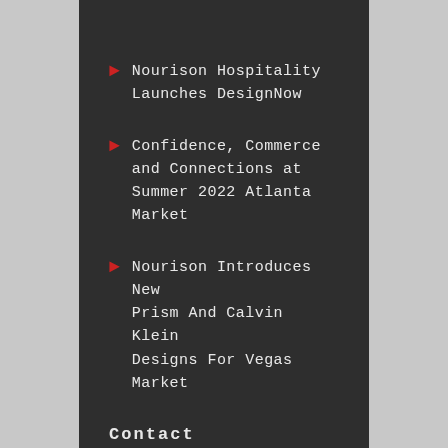Nourison Hospitality Launches DesignNow
Confidence, Commerce and Connections at Summer 2022 Atlanta Market
Nourison Introduces New Prism And Calvin Klein Designs For Vegas Market
Contact
The Oriental Rug Importers